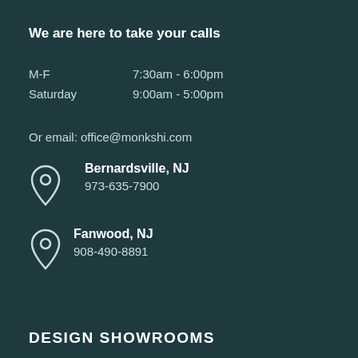We are here to take your calls
| M-F | 7:30am - 6:00pm |
| Saturday | 9:00am - 5:00pm |
Or email: office@monkshi.com
Bernardsville, NJ
973-635-7900
Fanwood, NJ
908-490-8891
DESIGN SHOWROOMS